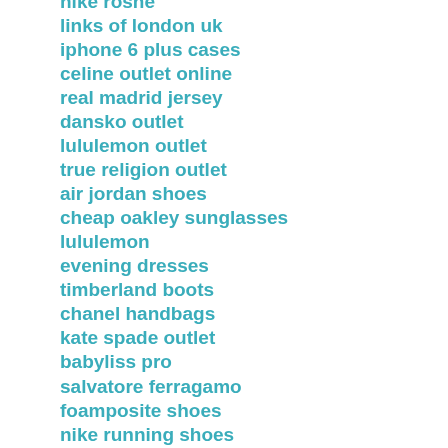nike roshe
links of london uk
iphone 6 plus cases
celine outlet online
real madrid jersey
dansko outlet
lululemon outlet
true religion outlet
air jordan shoes
cheap oakley sunglasses
lululemon
evening dresses
timberland boots
chanel handbags
kate spade outlet
babyliss pro
salvatore ferragamo
foamposite shoes
nike running shoes
north face outlet
iphone 6 cases
pandora jewelry
lacoste shirts